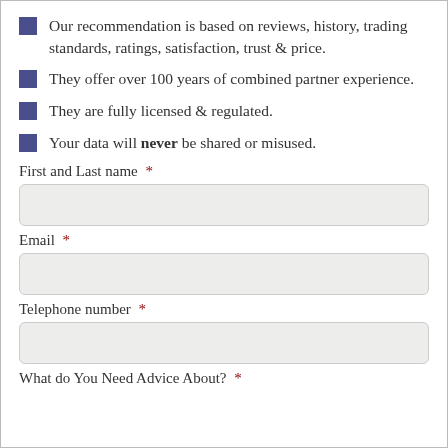Our recommendation is based on reviews, history, trading standards, ratings, satisfaction, trust & price.
They offer over 100 years of combined partner experience.
They are fully licensed & regulated.
Your data will never be shared or misused.
First and Last name *
Email *
Telephone number *
What do You Need Advice About? *